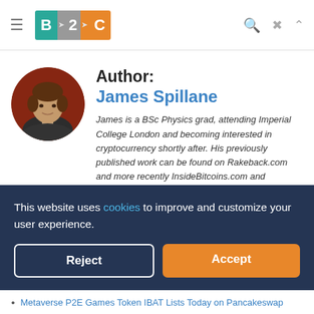B 2 C — navigation bar with hamburger menu, logo, search, mail, and up icons
[Figure (photo): Circular portrait photo of James Spillane, a young man in a dark shirt, seated indoors with a reddish/warm background]
Author:
James Spillane
James is a BSc Physics grad, attending Imperial College London and becoming interested in cryptocurrency shortly after. His previously published work can be found on Rakeback.com and more recently InsideBitcoins.com and DeFicoins.io. Currently James is a content editor and writer covering Bitcoin and DeFi related news, as well as enjoying
This website uses cookies to improve and customize your user experience.
Reject
Accept
Metaverse P2E Games Token IBAT Lists Today on Pancakeswap